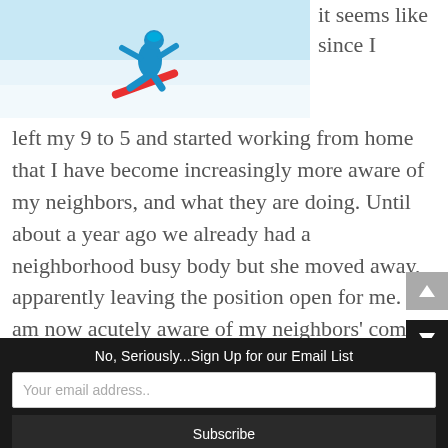[Figure (photo): A snowboarder performing a trick in the snow, seen from above against a white snowy background.]
it seems like since I left my 9 to 5 and started working from home that I have become increasingly more aware of my neighbors, and what they are doing. Until about a year ago we already had a neighborhood busy body but she moved away, apparently leaving the position open for me. I am now acutely aware of my neighbors' coming and goings, as well as all of their bad habits. They should all be grateful that I am not on the homeowner's association board. More accurately, they should be thanking sweet baby Jesus that I have not yet convinced my husband to
No, Seriously...Sign Up for our Email List
Your email address..
Subscribe